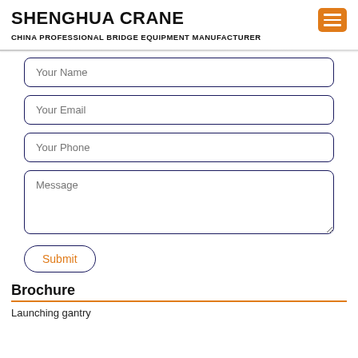SHENGHUA CRANE
CHINA PROFESSIONAL BRIDGE EQUIPMENT MANUFACTURER
[Figure (other): Orange hamburger menu icon (three horizontal white lines on orange rounded rectangle background)]
Your Name
Your Email
Your Phone
Message
Submit
Brochure
Launching gantry